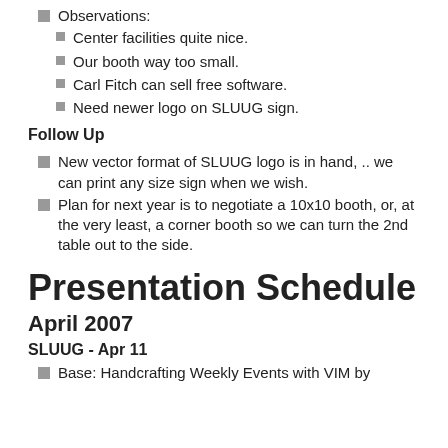Observations:
Center facilities quite nice.
Our booth way too small.
Carl Fitch can sell free software.
Need newer logo on SLUUG sign.
Follow Up
New vector format of SLUUG logo is in hand, .. we can print any size sign when we wish.
Plan for next year is to negotiate a 10x10 booth, or, at the very least, a corner booth so we can turn the 2nd table out to the side.
Presentation Schedule
April 2007
SLUUG - Apr 11
Base: Handcrafting Weekly Events with VIM by